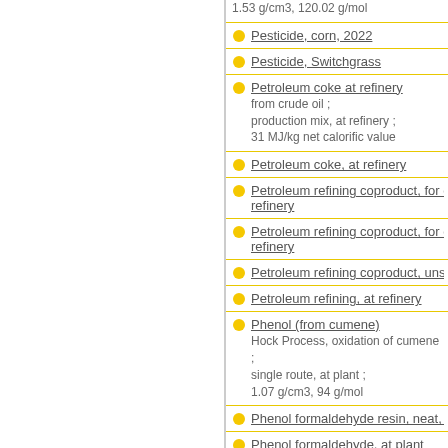1.53 g/cm3, 120.02 g/mol
Pesticide, corn, 2022
Pesticide, Switchgrass
Petroleum coke at refinery
from crude oil ; production mix, at refinery ; 31 MJ/kg net calorific value
Petroleum coke, at refinery
Petroleum refining coproduct, for olefin... refinery
Petroleum refining coproduct, for olefin... refinery
Petroleum refining coproduct, unspeci...
Petroleum refining, at refinery
Phenol (from cumene)
Hock Process, oxidation of cumene ; single route, at plant ; 1.07 g/cm3, 94 g/mol
Phenol formaldehyde resin, neat, 47%...
Phenol formaldehyde, at plant
Phenol formaldehyde, at plant
Phenol Resorcinol Formaldehyde resi...
Phenol-resorcinol-formaldehyde harde...